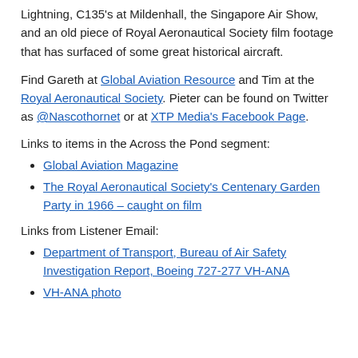Lightning, C135's at Mildenhall, the Singapore Air Show, and an old piece of Royal Aeronautical Society film footage that has surfaced of some great historical aircraft.
Find Gareth at Global Aviation Resource and Tim at the Royal Aeronautical Society. Pieter can be found on Twitter as @Nascothornet or at XTP Media's Facebook Page.
Links to items in the Across the Pond segment:
Global Aviation Magazine
The Royal Aeronautical Society's Centenary Garden Party in 1966 – caught on film
Links from Listener Email:
Department of Transport, Bureau of Air Safety Investigation Report, Boeing 727-277 VH-ANA
VH-ANA photo